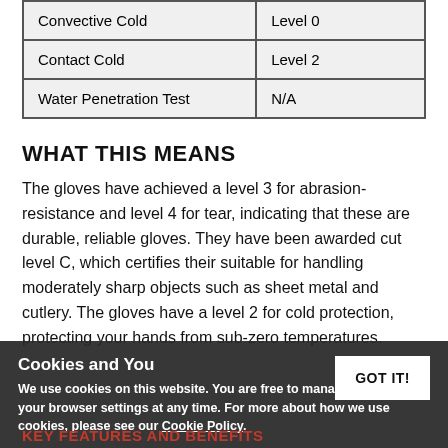| Convective Cold | Level 0 |
| Contact Cold | Level 2 |
| Water Penetration Test | N/A |
WHAT THIS MEANS
The gloves have achieved a level 3 for abrasion-resistance and level 4 for tear, indicating that these are durable, reliable gloves. They have been awarded cut level C, which certifies their suitable for handling moderately sharp objects such as sheet metal and cutlery. The gloves have a level 2 for cold protection, protecting your hands from sub-zero temperatures.
Cookies and You
We use cookies on this website. You are free to manage these via your browser settings at any time. For more about how we use cookies, please see our Cookie Policy.
KEY FEATURES AND BENEFITS